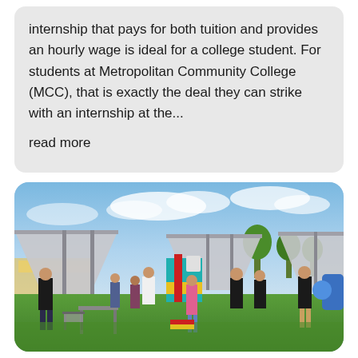internship that pays for both tuition and provides an hourly wage is ideal for a college student. For students at Metropolitan Community College (MCC), that is exactly the deal they can strike with an internship at the...
read more
[Figure (photo): Outdoor event or fair with white canopy tents set up on grass. Several people are standing around booths and displays. A colorful structure (teal, yellow, red) is visible in the center. People are wearing casual clothes; some in black shirts. Blue sky with clouds in the background.]